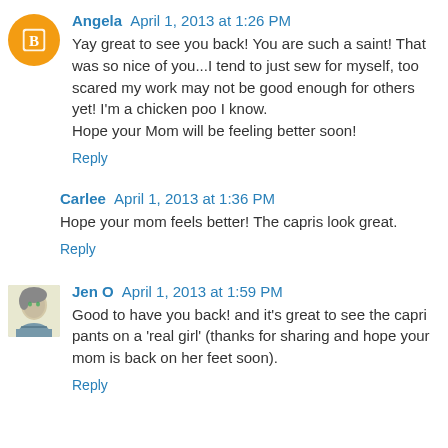Angela April 1, 2013 at 1:26 PM
Yay great to see you back! You are such a saint! That was so nice of you...I tend to just sew for myself, too scared my work may not be good enough for others yet! I'm a chicken poo I know.
Hope your Mom will be feeling better soon!
Reply
Carlee April 1, 2013 at 1:36 PM
Hope your mom feels better! The capris look great.
Reply
Jen O April 1, 2013 at 1:59 PM
Good to have you back! and it's great to see the capri pants on a 'real girl' (thanks for sharing and hope your mom is back on her feet soon).
Reply